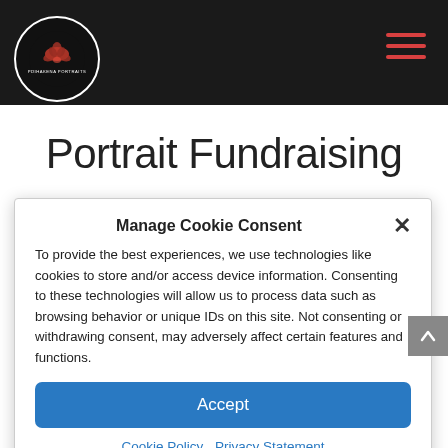[Figure (logo): Pdihakena Portraits logo: circular logo with white border on black background, red floral/decorative illustration in center, text 'PDIHAKENA PORTRAITS' below illustration]
Portrait Fundraising
Manage Cookie Consent
To provide the best experiences, we use technologies like cookies to store and/or access device information. Consenting to these technologies will allow us to process data such as browsing behavior or unique IDs on this site. Not consenting or withdrawing consent, may adversely affect certain features and functions.
Accept
Cookie Policy   Privacy Statement